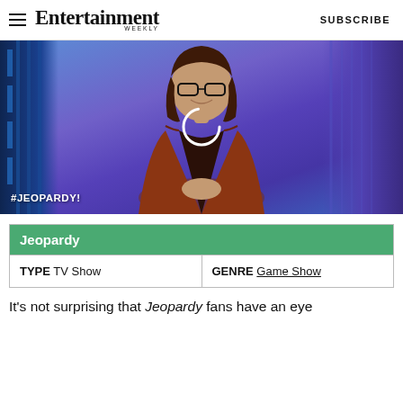Entertainment Weekly  SUBSCRIBE
[Figure (photo): Woman in orange cardigan standing on the Jeopardy! set with blue and purple backdrop and Jeopardy! logo hashtag in lower left corner. A circular spinner/loading icon is overlaid on center of image.]
| Jeopardy |
| --- |
| TYPE  TV Show | GENRE  Game Show |
It's not surprising that Jeopardy fans have an eye